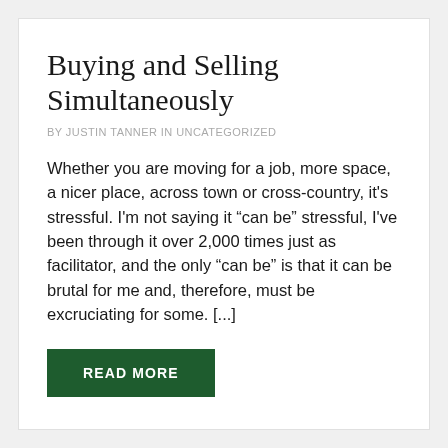Buying and Selling Simultaneously
BY JUSTIN TANNER IN UNCATEGORIZED
Whether you are moving for a job, more space, a nicer place, across town or cross-country, it's stressful. I'm not saying it “can be” stressful, I've been through it over 2,000 times just as facilitator, and the only “can be” is that it can be brutal for me and, therefore, must be excruciating for some. [...]
READ MORE